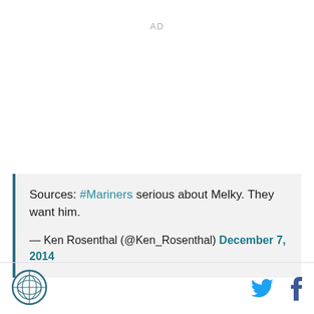AD
Sources: #Mariners serious about Melky. They want him.

— Ken Rosenthal (@Ken_Rosenthal) December 7, 2014
[Figure (logo): Circular logo with globe/crosshair design, teal border]
[Figure (other): Twitter bird icon in blue]
[Figure (other): Facebook f icon in dark blue]